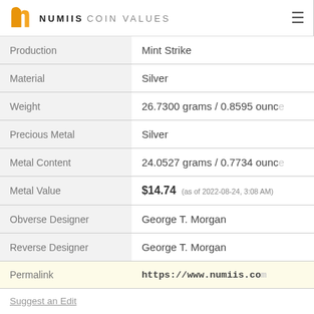NUMIIS COIN VALUES
| Property | Value |
| --- | --- |
| Production | Mint Strike |
| Material | Silver |
| Weight | 26.7300 grams / 0.8595 ounce |
| Precious Metal | Silver |
| Metal Content | 24.0527 grams / 0.7734 ounce |
| Metal Value | $14.74 (as of 2022-08-24, 3:08 AM) |
| Obverse Designer | George T. Morgan |
| Reverse Designer | George T. Morgan |
| Permalink | https://www.numiis.com |
Suggest an Edit